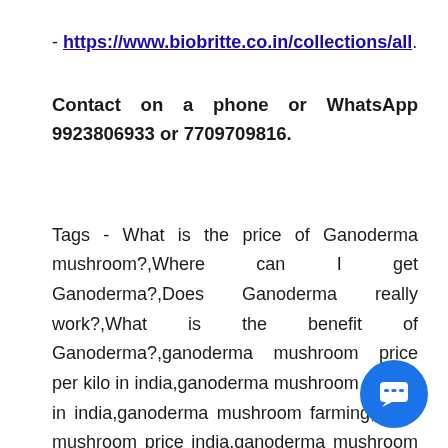- https://www.biobritte.co.in/collections/all.
Contact on a phone or WhatsApp 9923806933 or 7709709816.
Tags - What is the price of Ganoderma mushroom?,Where can I get Ganoderma?,Does Ganoderma really work?,What is the benefit of Ganoderma?,ganoderma mushroom price per kilo in india,ganoderma mushroom buyers in india,ganoderma mushroom farming,reishi mushroom price india,ganoderma mushroom cultivation,medicinal